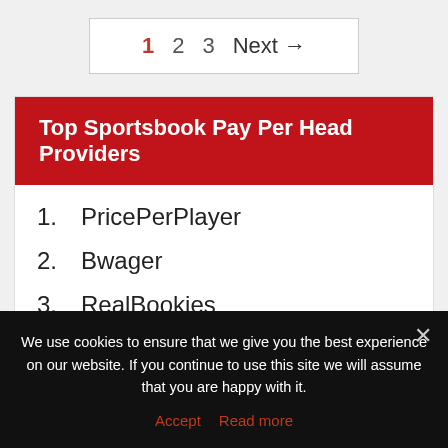1  2  3  Next →
Top Sportsbook Pay Per Head Providers
1. PricePerPlayer
2. Bwager
3. RealBookies
4. 9DollarPerHead
We use cookies to ensure that we give you the best experience on our website. If you continue to use this site we will assume that you are happy with it. Accept  Read more